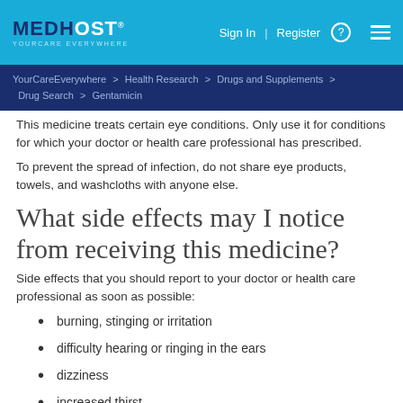MEDHOST YOURCARE EVERYWHERE | Sign In | Register | Menu
YourCareEverywhere > Health Research > Drugs and Supplements > Drug Search > Gentamicin
This medicine treats certain eye conditions. Use only use it for conditions for which your doctor or health care professional has prescribed.
To prevent the spread of infection, do not share eye products, towels, and washcloths with anyone else.
What side effects may I notice from receiving this medicine?
Side effects that you should report to your doctor or health care professional as soon as possible:
burning, stinging or irritation
difficulty hearing or ringing in the ears
dizziness
increased thirst